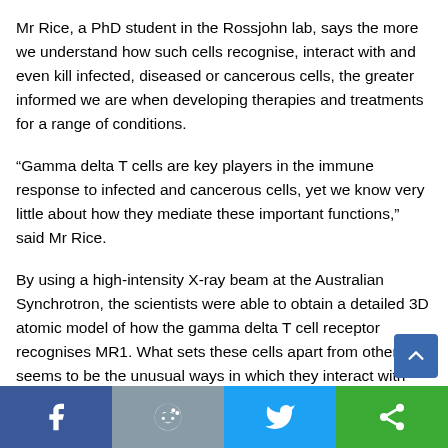Mr Rice, a PhD student in the Rossjohn lab, says the more we understand how such cells recognise, interact with and even kill infected, diseased or cancerous cells, the greater informed we are when developing therapies and treatments for a range of conditions.
“Gamma delta T cells are key players in the immune response to infected and cancerous cells, yet we know very little about how they mediate these important functions,” said Mr Rice.
By using a high-intensity X-ray beam at the Australian Synchrotron, the scientists were able to obtain a detailed 3D atomic model of how the gamma delta T cell receptor recognises MR1. What sets these cells apart from others seems to be the unusual ways in which they interact with MR1.
[Figure (other): Social sharing bar with Facebook, Reddit, Twitter, and another sharing icon buttons at the bottom of the page, plus a scroll-to-top button.]